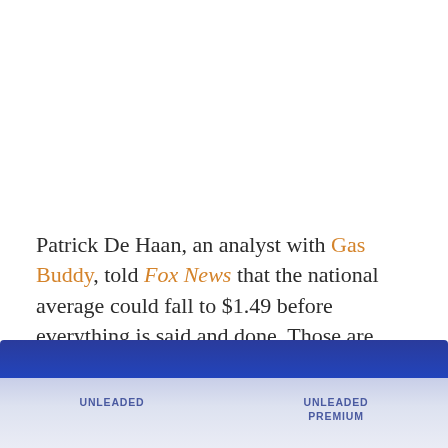Patrick De Haan, an analyst with Gas Buddy, told Fox News that the national average could fall to $1.49 before everything is said and done. Those are 2004 numbers—you know, before all hell broke loose in the world's financial markets.
[Figure (infographic): Footer bar with dark blue top strip and lighter blue-gray bottom area containing column labels: UNLEADED and UNLEADED PREMIUM]